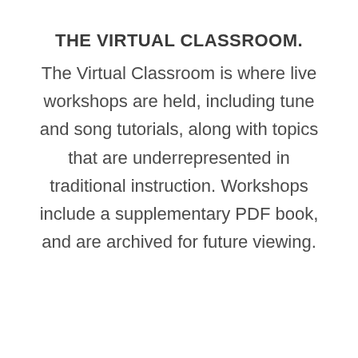THE VIRTUAL CLASSROOM.
The Virtual Classroom is where live workshops are held, including tune and song tutorials, along with topics that are underrepresented in traditional instruction. Workshops include a supplementary PDF book, and are archived for future viewing.